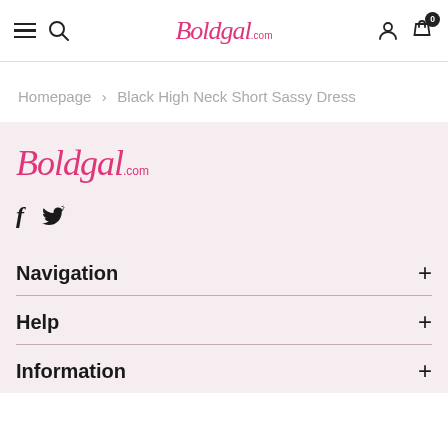Boldgal.com — navigation header with hamburger, search, logo, user, and cart (0)
Homepage > Black High Neck Short Sassy Dress
[Figure (logo): Boldgal.com logo in pink cursive script]
[Figure (infographic): Facebook and Twitter social icons]
Navigation +
Help +
Information +